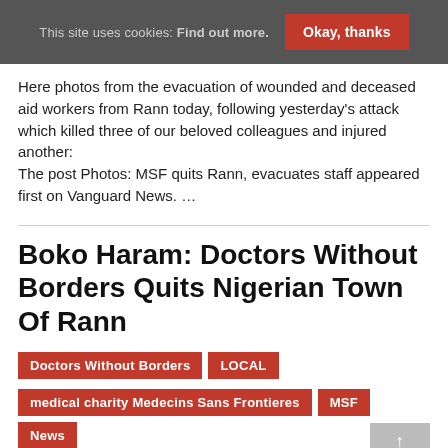This site uses cookies: Find out more.   Okay, thanks
Here photos from the evacuation of wounded and deceased aid workers from Rann today, following yesterday's attack which killed three of our beloved colleagues and injured another:
The post Photos: MSF quits Rann, evacuates staff appeared first on Vanguard News. …
Boko Haram: Doctors Without Borders Quits Nigerian Town Of Rann
Doctors Without Borders
LOCAL
medical charity Medecins Sans Frontieres
MSF
News
by Nigerian Oracle – March 2, 2018  💬 0